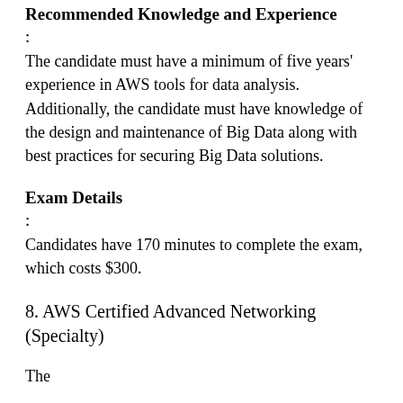Recommended Knowledge and Experience
:
The candidate must have a minimum of five years' experience in AWS tools for data analysis. Additionally, the candidate must have knowledge of the design and maintenance of Big Data along with best practices for securing Big Data solutions.
Exam Details
:
Candidates have 170 minutes to complete the exam, which costs $300.
8. AWS Certified Advanced Networking (Specialty)
The